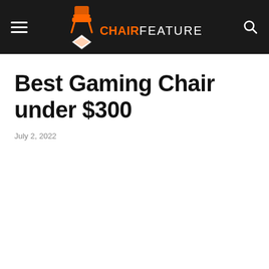CHAIRFEATURE
Best Gaming Chair under $300
July 2, 2022